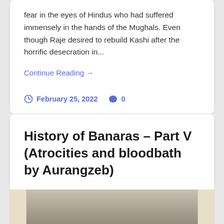fear in the eyes of Hindus who had suffered immensely in the hands of the Mughals. Even though Raje desired to rebuild Kashi after the horrific desecration in...
Continue Reading →
February 25, 2022   0
History of Banaras – Part V (Atrocities and bloodbath by Aurangzeb)
[Figure (photo): Historical photograph, partially visible at bottom of page, appears dark/sepia toned]